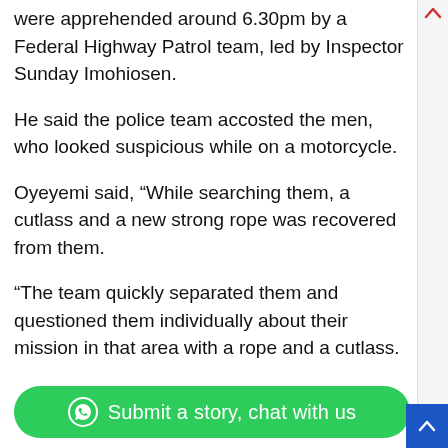were apprehended around 6.30pm by a Federal Highway Patrol team, led by Inspector Sunday Imohiosen.
He said the police team accosted the men, who looked suspicious while on a motorcycle.
Oyeyemi said, “While searching them, a cutlass and a new strong rope was recovered from them.
“The team quickly separated them and questioned them individually about their mission in that area with a rope and a cutlass.
Submit a story, chat with us